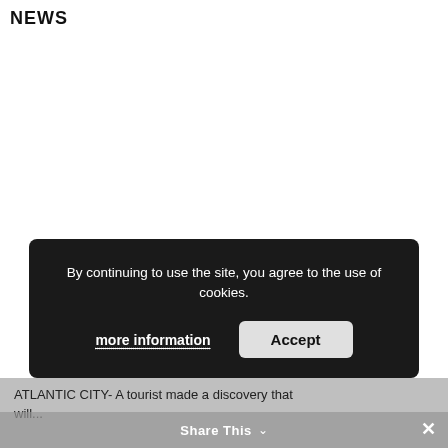NEWS
By continuing to use the site, you agree to the use of cookies.
more information
Accept
ATLANTIC CITY- A tourist made a discovery that will...
Share This